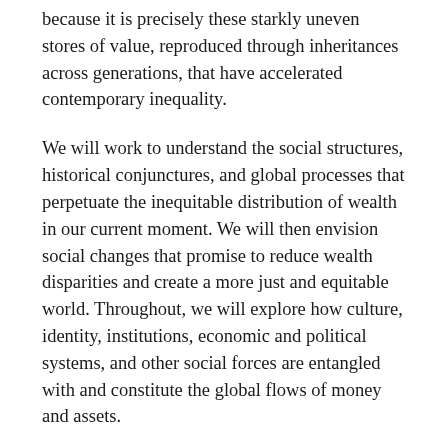because it is precisely these starkly uneven stores of value, reproduced through inheritances across generations, that have accelerated contemporary inequality.
We will work to understand the social structures, historical conjunctures, and global processes that perpetuate the inequitable distribution of wealth in our current moment. We will then envision social changes that promise to reduce wealth disparities and create a more just and equitable world. Throughout, we will explore how culture, identity, institutions, economic and political systems, and other social forces are entangled with and constitute the global flows of money and assets.
The purview of this course is global, as our attention will focus on the broader global structures and...